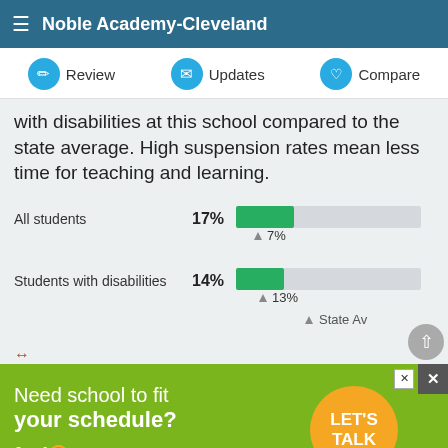Noble Academy-Cleveland
with disabilities at this school compared to the state average. High suspension rates mean less time for teaching and learning.
[Figure (bar-chart): Suspension rates]
[Figure (infographic): Advertisement: Fusion Global Academy - Need school to fit your schedule? LET'S TALK]
ADVERTISEMENT